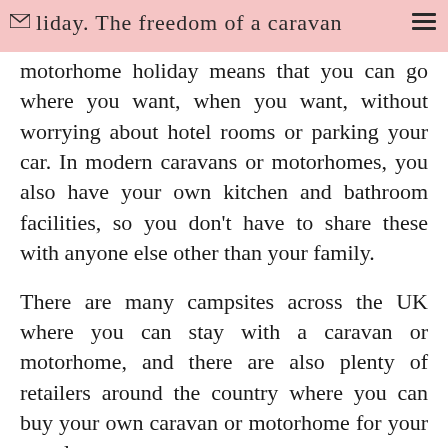liday. The freedom of a caravan motorhome holiday means that you can go where you want, when you want, without worrying about hotel rooms or parking your car.
motorhome holiday means that you can go where you want, when you want, without worrying about hotel rooms or parking your car. In modern caravans or motorhomes, you also have your own kitchen and bathroom facilities, so you don't have to share these with anyone else other than your family.
There are many campsites across the UK where you can stay with a caravan or motorhome, and there are also plenty of retailers around the country where you can buy your own caravan or motorhome for your travels.